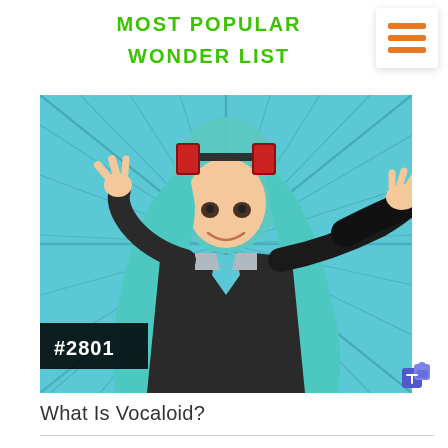MOST POPULAR WONDER LIST
[Figure (photo): Person cosplaying as Hatsune Miku (Vocaloid character) with teal/turquoise long hair, headset accessories, dark jacket and light blue tie, making hand gestures against a manga-style radial burst blue background. A black badge in the bottom-left corner reads #2801.]
What Is Vocaloid?